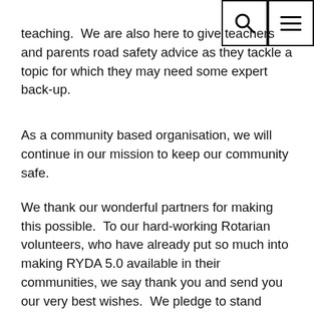[Figure (screenshot): Navigation icons: a search icon (magnifying glass) in a bordered square box and a hamburger menu icon (three horizontal lines) in a bordered square box, positioned in the top-right corner.]
teaching.  We are also here to give teachers and parents road safety advice as they tackle a topic for which they may need some expert back-up.
As a community based organisation, we will continue in our mission to keep our community safe.
We thank our wonderful partners for making this possible.  To our hard-working Rotarian volunteers, who have already put so much into making RYDA 5.0 available in their communities, we say thank you and send you our very best wishes.  We pledge to stand side-by-side, as we always have, to help you deliver the RYDA workshops locally as that becomes a reality.  Meanwhile, we'll keep helping your schools and community build a strong road safety culture through our online and